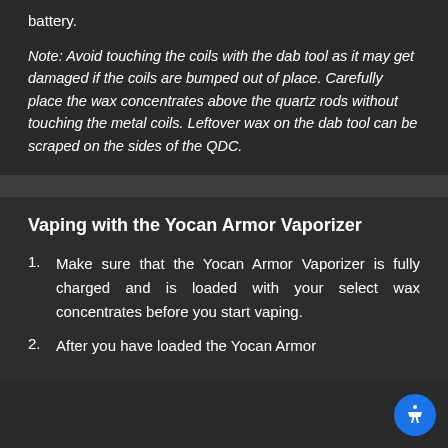battery.
Note: Avoid touching the coils with the dab tool as it may get damaged if the coils are bumped out of place. Carefully place the wax concentrates above the quartz rods without touching the metal coils. Leftover wax on the dab tool can be scraped on the sides of the QDC.
Vaping with the Yocan Armor Vaporizer
Make sure that the Yocan Armor Vaporizer is fully charged and is loaded with your select wax concentrates before you start vaping.
After you have loaded the Yocan Armor